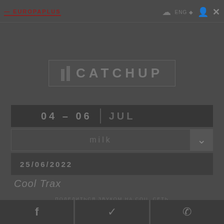EUROPAPLUS | ENG | (icons) X
CATCHUP
04 – 06  JUL
MILK
25/06/2022
Cool Trax
f  (Twitter)  (WhatsApp)